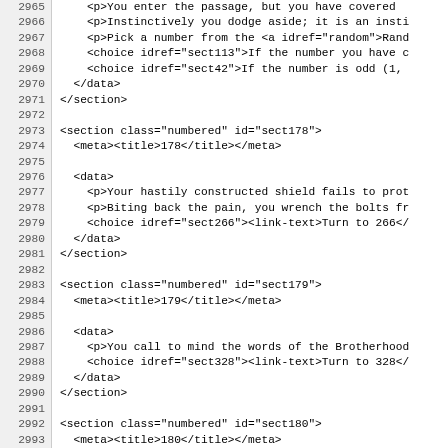Source code / XML editor view showing lines 2965–2997 of a gamebook XML file. Lines show XML sections with data elements including choices and paragraphs for sections 178, 179, and 180.